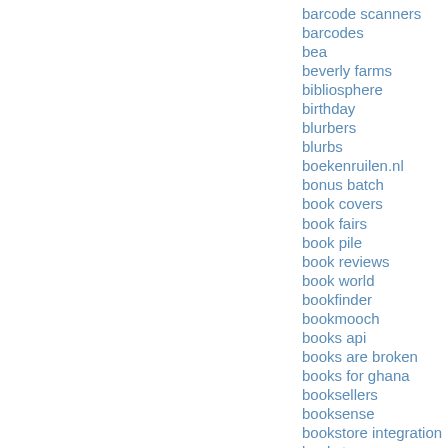barcode scanners
barcodes
bea
beverly farms
bibliosphere
birthday
blurbers
blurbs
boekenruilen.nl
bonus batch
book covers
book fairs
book pile
book reviews
book world
bookfinder
bookmooch
books api
books are broken
books for ghana
booksellers
booksense
bookstore integration
bookstores
bookvideos
boston
bowker
Breaking Dawn
british library
bugs
cambridge
canada